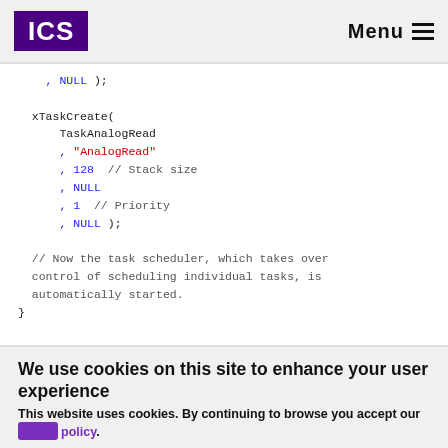ICS | Menu
, NULL );

xTaskCreate(
    TaskAnalogRead
    , "AnalogRead"
    , 128  // Stack size
    , NULL
    , 1  // Priority
    , NULL );

  // Now the task scheduler, which takes over control of scheduling individual tasks, is automatically started.
}
We use cookies on this site to enhance your user experience
This website uses cookies. By continuing to browse you accept our cookie policy.